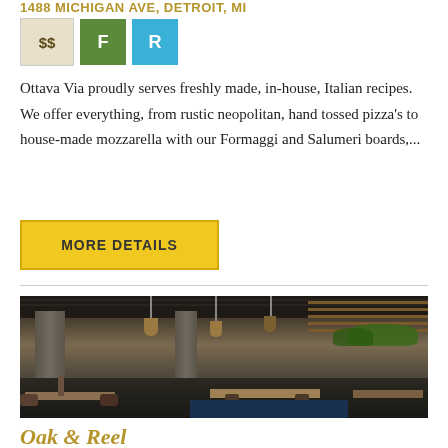1488 MICHIGAN AVE, DETROIT, MI
[Figure (infographic): Price badge showing $$ and two colored category badges: F (green) and R (cyan/blue)]
Ottava Via proudly serves freshly made, in-house, Italian recipes. We offer everything, from rustic neopolitan, hand tossed pizza's to house-made mozzarella with our Formaggi and Salumeri boards,...
MORE DETAILS
[Figure (photo): Interior photo of a modern restaurant dining room with concrete columns, wooden slatted walls, hanging pendant lights, green plants, and dining tables with chairs set for service]
Oak & Reel